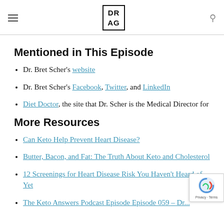DR AG logo with hamburger menu and search icon
Mentioned in This Episode
Dr. Bret Scher's website
Dr. Bret Scher's Facebook, Twitter, and LinkedIn
Diet Doctor, the site that Dr. Scher is the Medical Director for
More Resources
Can Keto Help Prevent Heart Disease?
Butter, Bacon, and Fat: The Truth About Keto and Cholesterol
12 Screenings for Heart Disease Risk You Haven't Heard of Yet
The Keto Answers Podcast Episode Episode 059 – Dr...